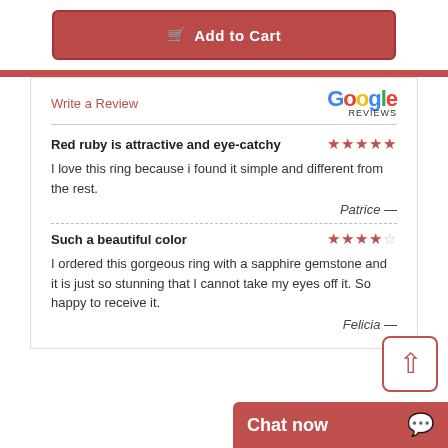Add to Cart
Write a Review
[Figure (logo): Google Reviews logo]
Red ruby is attractive and eye-catchy
★★★★★
I love this ring because i found it simple and different from the rest.
Patrice —
Such a beautiful color
★★★★☆
I ordered this gorgeous ring with a sapphire gemstone and it is just so stunning that I cannot take my eyes off it. So happy to receive it.
Felicia —
Chat now